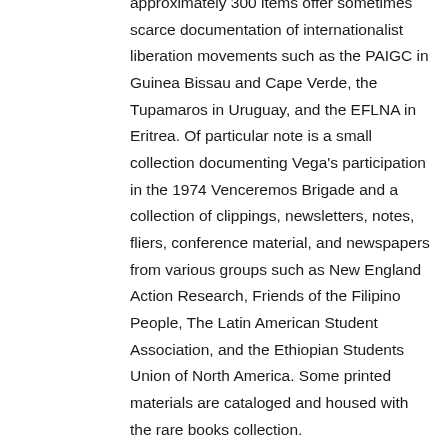approximately 300 items offer sometimes scarce documentation of internationalist liberation movements such as the PAIGC in Guinea Bissau and Cape Verde, the Tupamaros in Uruguay, and the EFLNA in Eritrea. Of particular note is a small collection documenting Vega's participation in the 1974 Venceremos Brigade and a collection of clippings, newsletters, notes, fliers, conference material, and newspapers from various groups such as New England Action Research, Friends of the Filipino People, The Latin American Student Association, and the Ethiopian Students Union of North America. Some printed materials are cataloged and housed with the rare books collection.